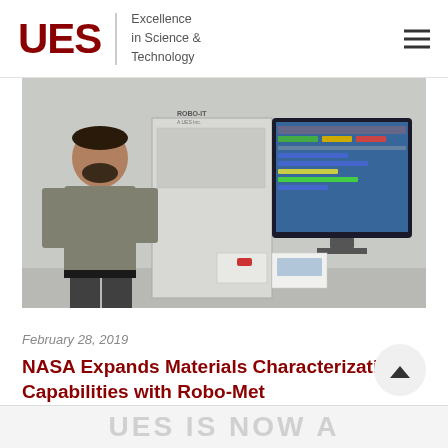[Figure (logo): UES logo with text 'Excellence in Science & Technology' and hamburger menu icon]
[Figure (photo): A man with beard standing in front of a Robo-Met automated metallographic system with a large monitor displaying the control software interface]
February 28, 2019
NASA Expands Materials Characterization Capabilities with Robo-Met
UES IS NOW A